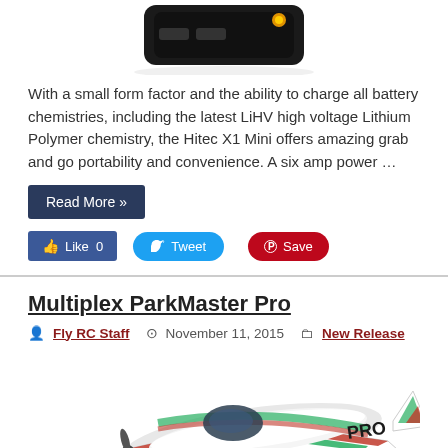[Figure (photo): Top portion of a dark battery charger device (Hitec X1 Mini) with a yellow indicator light, shown from above at an angle]
With a small form factor and the ability to charge all battery chemistries, including the latest LiHV high voltage Lithium Polymer chemistry, the Hitec X1 Mini offers amazing grab and go portability and convenience. A six amp power …
Read More »
Like 0  Tweet  Save
Multiplex ParkMaster Pro
Fly RC Staff  November 11, 2015  New Release
[Figure (photo): Multiplex ParkMaster Pro RC airplane with green, white, and red livery, PRO text on tail, shown from above at an angle]